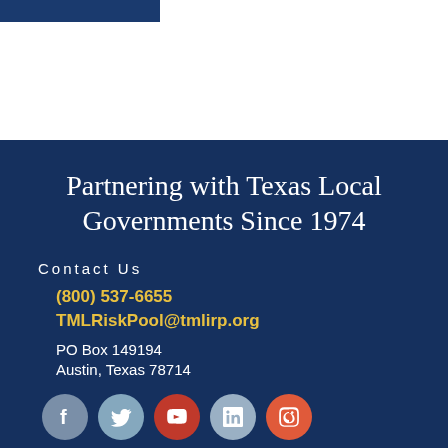[Figure (logo): Blue accent bar in top left corner]
Partnering with Texas Local Governments Since 1974
Contact Us
(800) 537-6655
TMLRiskPool@tmlirp.org
PO Box 149194
Austin, Texas 78714
[Figure (infographic): Five social media icons in a row: Facebook (grey-blue circle), Twitter (light blue circle), YouTube (red circle), LinkedIn (light blue circle), Instagram (orange-red circle)]